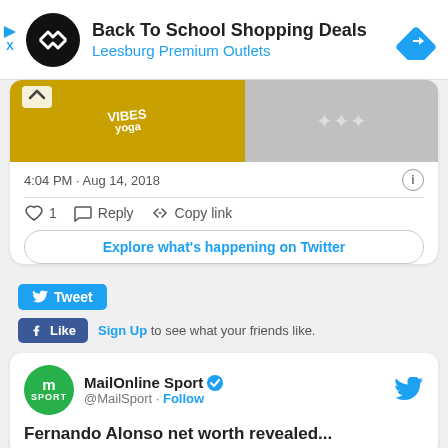[Figure (screenshot): Advertisement banner for Back To School Shopping Deals at Leesburg Premium Outlets with navigation arrow icon]
[Figure (screenshot): Twitter embed showing tweet images (yellow shirt with text, jewelry/crystals), timestamp 4:04 PM Aug 14 2018, like count 1, Reply, Copy link actions, and Explore what's happening on Twitter button]
[Figure (screenshot): Tweet button and Facebook Like button with Sign Up to see what your friends like text]
[Figure (screenshot): MailOnline Sport Twitter card showing @MailSport handle with Follow button and partial headline Fernando Alonso net worth revealed]